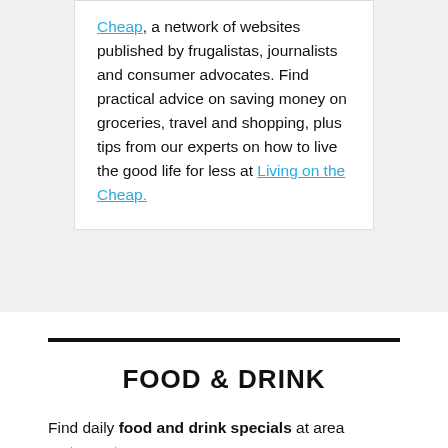Cheap, a network of websites published by frugalistas, journalists and consumer advocates. Find practical advice on saving money on groceries, travel and shopping, plus tips from our experts on how to live the good life for less at Living on the Cheap.
FOOD & DRINK
Find daily food and drink specials at area restaurants.